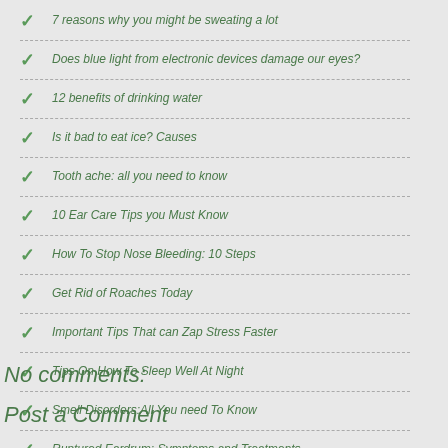7 reasons why you might be sweating a lot
Does blue light from electronic devices damage our eyes?
12 benefits of drinking water
Is it bad to eat ice? Causes
Tooth ache: all you need to know
10 Ear Care Tips you Must Know
How To Stop Nose Bleeding: 10 Steps
Get Rid of Roaches Today
Important Tips That can Zap Stress Faster
Tips On How To Sleep Well At Night
Smell Disorders:All You need To Know
Ruptured Eardrum: Symptoms and Treatments
No comments:
Post a Comment